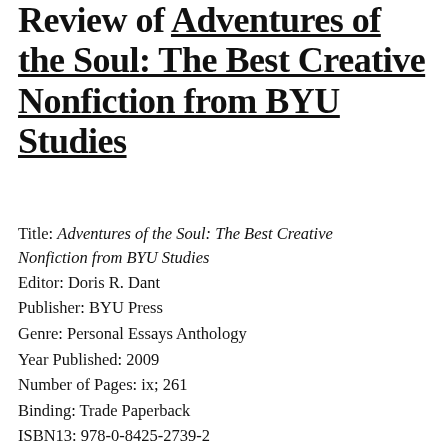Review of _Adventures of the Soul: The Best Creative Nonfiction from BYU Studies_
Title: Adventures of the Soul: The Best Creative Nonfiction from BYU Studies
Editor: Doris R. Dant
Publisher: BYU Press
Genre: Personal Essays Anthology
Year Published: 2009
Number of Pages: ix; 261
Binding: Trade Paperback
ISBN13: 978-0-8425-2739-2
Price: $14.95
Available from Deseret Book and other sources.